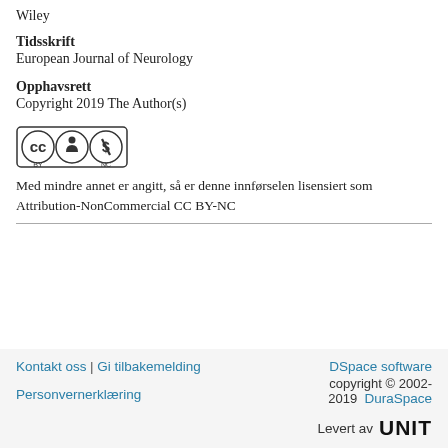Wiley
Tidsskrift
European Journal of Neurology
Opphavsrett
Copyright 2019 The Author(s)
[Figure (logo): Creative Commons Attribution-NonCommercial (CC BY-NC) license badge]
Med mindre annet er angitt, så er denne innførselen lisensiert som Attribution-NonCommercial CC BY-NC
Kontakt oss | Gi tilbakemelding   Personvernerklæring   DSpace software copyright © 2002-2019  DuraSpace   Levert av UNIT